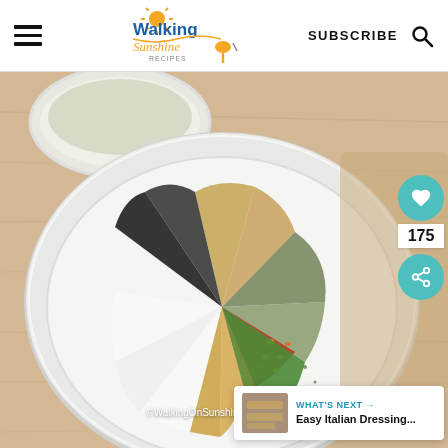Walking on Sunshine Recipes — SUBSCRIBE
[Figure (photo): Overhead view of a white bowl filled with various spices arranged in sections: garlic powder, dried herbs/oregano, black pepper, red pepper flakes, salt, onion powder, and dried parsley/dill. A smaller white bowl with a creamy sauce is visible in the top left corner. All on a wooden surface. Copyright WalkingOnSunshineRecipes.com]
©WalkingOnSunshineRecipes.com
WHAT'S NEXT → Easy Italian Dressing...